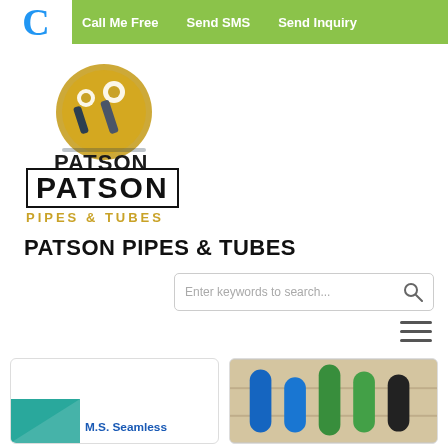Call Me Free   Send SMS   Send Inquiry
[Figure (logo): Patson Pipes & Tubes company logo with golden circle and pipe motif, text PATSON in bold black and PIPES & TUBES in gold]
PATSON PIPES & TUBES
Enter keywords to search...
[Figure (screenshot): M.S. Seamless product card thumbnail with teal shape]
[Figure (photo): Product photo showing blue and green pipes/tubes on wooden surface]